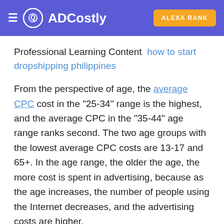ADCostly  ALEXA RANK
Professional Learning Content  how to start dropshipping philippines
From the perspective of age, the average CPC cost in the "25-34" range is the highest, and the average CPC in the "35-44" age range ranks second. The two age groups with the lowest average CPC costs are 13-17 and 65+. In the age range, the older the age, the more cost is spent in advertising, because as the age increases, the number of people using the Internet decreases, and the advertising costs are higher.